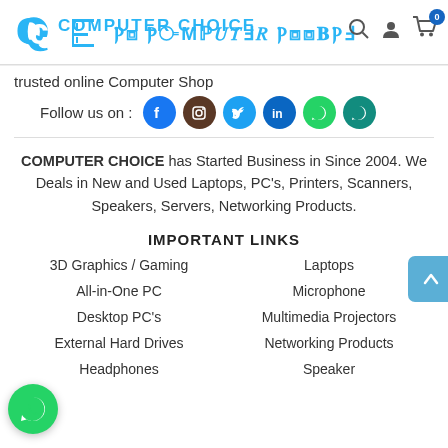Computer Choice - trusted online Computer Shop header with logo, search, user, cart icons
trusted online Computer Shop
Follow us on : [Facebook, Instagram, Twitter, LinkedIn, WhatsApp, WhatsApp]
COMPUTER CHOICE has Started Business in Since 2004. We Deals in New and Used Laptops, PC's, Printers, Scanners, Speakers, Servers, Networking Products.
IMPORTANT LINKS
3D Graphics / Gaming
Laptops
All-in-One PC
Microphone
Desktop PC's
Multimedia Projectors
External Hard Drives
Networking Products
Headphones
Speaker